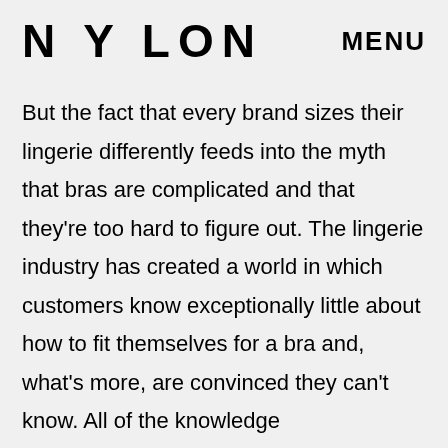NYLON
MENU
But the fact that every brand sizes their lingerie differently feeds into the myth that bras are complicated and that they're too hard to figure out. The lingerie industry has created a world in which customers know exceptionally little about how to fit themselves for a bra and, what's more, are convinced they can't know. All of the knowledge